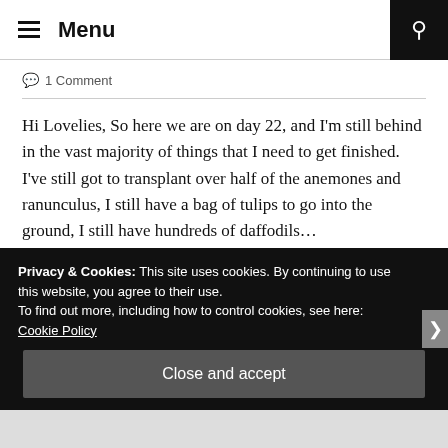Menu
1 Comment
Hi Lovelies, So here we are on day 22, and I'm still behind in the vast majority of things that I need to get finished. I've still got to transplant over half of the anemones and ranunculus, I still have a bag of tulips to go into the ground, I still have hundreds of daffodils...
CONTINUE READING
Privacy & Cookies: This site uses cookies. By continuing to use this website, you agree to their use.
To find out more, including how to control cookies, see here: Cookie Policy
Close and accept